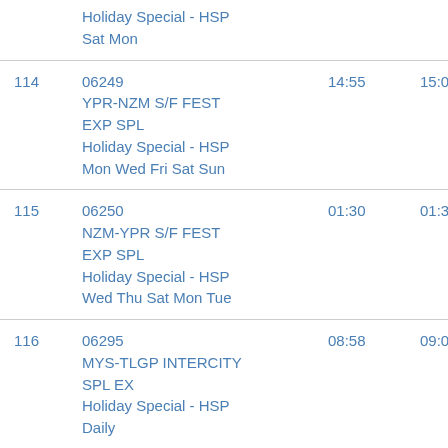| # | Train Info | Arrival | Departure |
| --- | --- | --- | --- |
|  | Holiday Special - HSP
Sat Mon |  |  |
| 114 | 06249
YPR-NZM S/F FEST EXP SPL
Holiday Special - HSP
Mon Wed Fri Sat Sun | 14:55 | 15:00 |
| 115 | 06250
NZM-YPR S/F FEST EXP SPL
Holiday Special - HSP
Wed Thu Sat Mon Tue | 01:30 | 01:35 |
| 116 | 06295
MYS-TLGP INTERCITY SPL EX
Holiday Special - HSP
Daily | 08:58 | 09:00 |